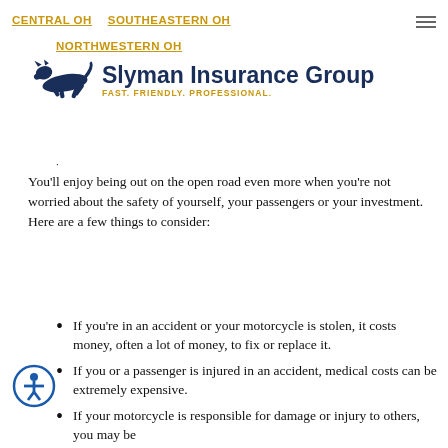CENTRAL OH   SOUTHEASTERN OH   NORTHWESTERN OH
[Figure (logo): Slyman Insurance Group logo with running panther silhouette and tagline FAST. FRIENDLY. PROFESSIONAL.]
You'll enjoy being out on the open road even more when you're not worried about the safety of yourself, your passengers or your investment. Here are a few things to consider:
If you're in an accident or your motorcycle is stolen, it costs money, often a lot of money, to fix or replace it.
If you or a passenger is injured in an accident, medical costs can be extremely expensive.
If your motorcycle is responsible for damage or injury to others, you may be